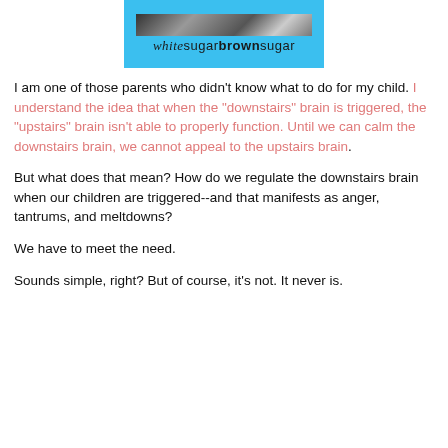[Figure (logo): White Sugar Brown Sugar blog logo with blue background and photo strip at top]
I am one of those parents who didn't know what to do for my child. I understand the idea that when the "downstairs" brain is triggered, the "upstairs" brain isn't able to properly function. Until we can calm the downstairs brain, we cannot appeal to the upstairs brain.
But what does that mean? How do we regulate the downstairs brain when our children are triggered--and that manifests as anger, tantrums, and meltdowns?
We have to meet the need.
Sounds simple, right? But of course, it's not. It never is.